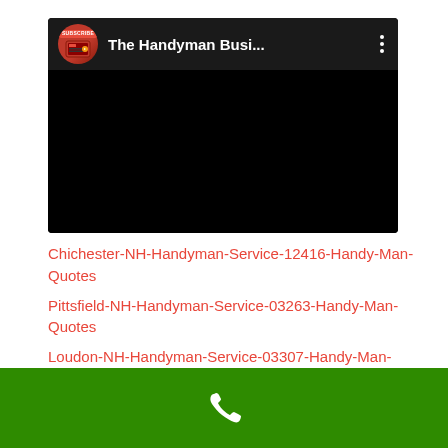[Figure (screenshot): YouTube-style video player thumbnail showing channel avatar with red toolbox image and 'SUBSCRIBE' badge, channel name 'The Handyman Busi...', three-dot menu icon, and black video body area]
Chichester-NH-Handyman-Service-12416-Handy-Man-Quotes
Pittsfield-NH-Handyman-Service-03263-Handy-Man-Quotes
Loudon-NH-Handyman-Service-03307-Handy-Man-Quotes
Green call bar with phone icon